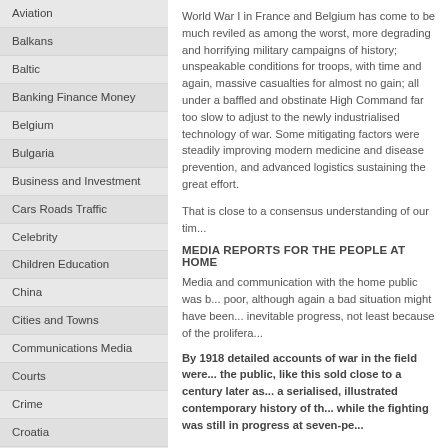Aviation
Balkans
Baltic
Banking Finance Money
Belgium
Bulgaria
Business and Investment
Cars Roads Traffic
Celebrity
Children Education
China
Cities and Towns
Communications Media
Courts
Crime
Croatia
Czech
Czech Republic
Darfur
Denmark
Development Aid
World War I in France and Belgium has come to be much reviled as among the worst, more degrading and horrifying military campaigns of history; unspeakable conditions for troops, with time and again, massive casualties for almost no gain; all under a baffled and obstinate High Command far too slow to adjust to the newly industrialised technology of war. Some mitigating factors were steadily improving modern medicine and disease prevention, and advanced logistics sustaining the great effort.
That is close to a consensus understanding of our tim...
MEDIA REPORTS FOR THE PEOPLE AT HOME
Media and communication with the home public was b... poor, although again a bad situation might have been... inevitable progress, not least because of the prolifera...
By 1918 detailed accounts of war in the field were... the public, like this sold close to a century later as... a serialised, illustrated contemporary history of th... while the fighting was still in progress at seven-pe...